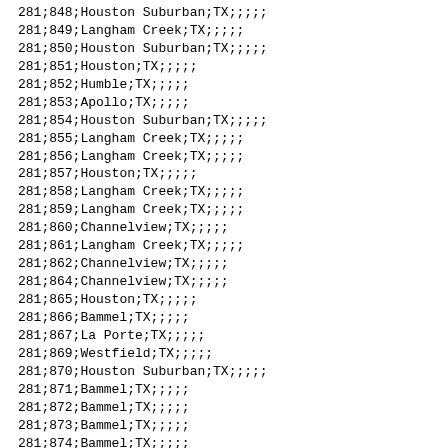| 281;848;Houston Suburban;TX;;;;; |
| 281;849;Langham Creek;TX;;;;; |
| 281;850;Houston Suburban;TX;;;;; |
| 281;851;Houston;TX;;;;; |
| 281;852;Humble;TX;;;;; |
| 281;853;Apollo;TX;;;;; |
| 281;854;Houston Suburban;TX;;;;; |
| 281;855;Langham Creek;TX;;;;; |
| 281;856;Langham Creek;TX;;;;; |
| 281;857;Houston;TX;;;;; |
| 281;858;Langham Creek;TX;;;;; |
| 281;859;Langham Creek;TX;;;;; |
| 281;860;Channelview;TX;;;;; |
| 281;861;Langham Creek;TX;;;;; |
| 281;862;Channelview;TX;;;;; |
| 281;864;Channelview;TX;;;;; |
| 281;865;Houston;TX;;;;; |
| 281;866;Bammel;TX;;;;; |
| 281;867;La Porte;TX;;;;; |
| 281;869;Westfield;TX;;;;; |
| 281;870;Houston Suburban;TX;;;;; |
| 281;871;Bammel;TX;;;;; |
| 281;872;Bammel;TX;;;;; |
| 281;873;Bammel;TX;;;;; |
| 281;874;Bammel;TX;;;;; |
| 281;875;Bammel;TX;;;;; |
| 281;876;Bammel;TX;;;;; |
| 281;877;Bammel;TX;;;;; |
| 281;878;Houston Suburban;TX;;;;; |
| 281;879;Houston Suburban;TX;;;;; |